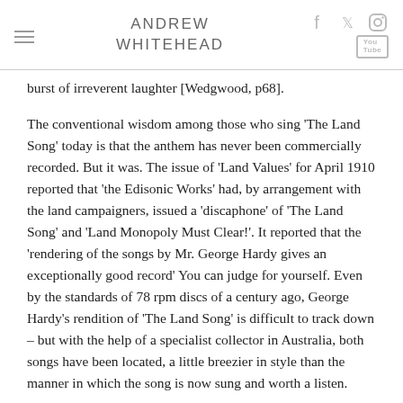ANDREW WHITEHEAD
burst of irreverent laughter [Wedgwood, p68].
The conventional wisdom among those who sing 'The Land Song' today is that the anthem has never been commercially recorded. But it was. The issue of 'Land Values' for April 1910 reported that 'the Edisonic Works' had, by arrangement with the land campaigners, issued a 'discaphone' of 'The Land Song' and 'Land Monopoly Must Clear!'. It reported that the 'rendering of the songs by Mr. George Hardy gives an exceptionally good record' You can judge for yourself. Even by the standards of 78 rpm discs of a century ago, George Hardy's rendition of 'The Land Song' is difficult to track down – but with the help of a specialist collector in Australia, both songs have been located, a little breezier in style than the manner in which the song is now sung and worth a listen.